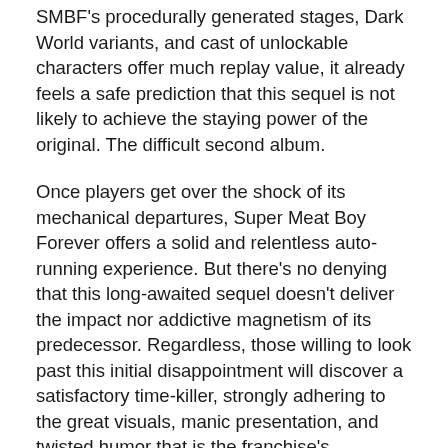SMBF's procedurally generated stages, Dark World variants, and cast of unlockable characters offer much replay value, it already feels a safe prediction that this sequel is not likely to achieve the staying power of the original. The difficult second album.
Once players get over the shock of its mechanical departures, Super Meat Boy Forever offers a solid and relentless auto-running experience. But there's no denying that this long-awaited sequel doesn't deliver the impact nor addictive magnetism of its predecessor. Regardless, those willing to look past this initial disappointment will discover a satisfactory time-killer, strongly adhering to the great visuals, manic presentation, and twisted humor that is the franchise's trademark.
[This review is based on a retail build of the game provided by the publisher.]